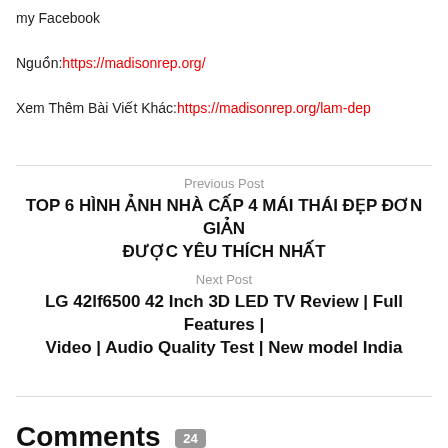my Facebook
Nguồn: https://madisonrep.org/
Xem Thêm Bài Viết Khác: https://madisonrep.org/lam-dep
Previous Post
TOP 6 HÌNH ẢNH NHÀ CẤP 4 MÁI THÁI ĐẸP ĐƠN GIẢN ĐƯỢC YÊU THÍCH NHẤT
Next Post
LG 42lf6500 42 Inch 3D LED TV Review | Full Features | Video | Audio Quality Test | New model India
Comments 24